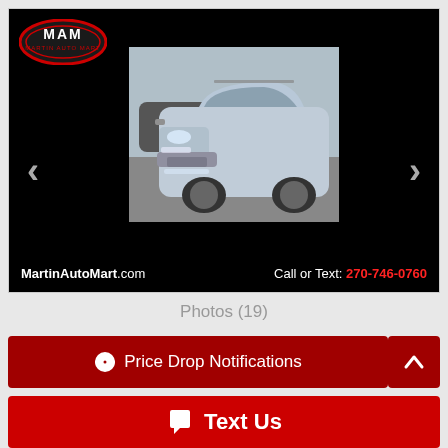[Figure (photo): Martin Auto Mart car dealership listing showing a silver Subaru Forester SUV with dealer logo, navigation arrows, website URL MartinAutoMart.com and phone number 270-746-0760]
Photos (19)
Price Drop Notifications
Text Us